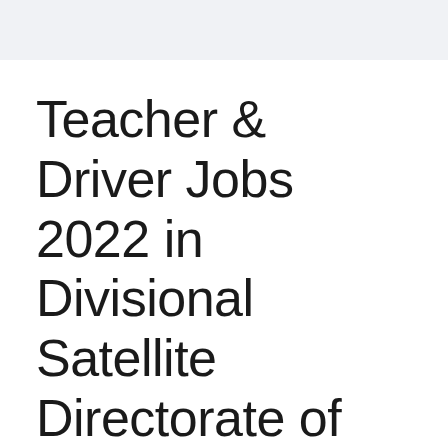Teacher & Driver Jobs 2022 in Divisional Satellite Directorate of Education
March 23, 2022 by Naveed Ahmed